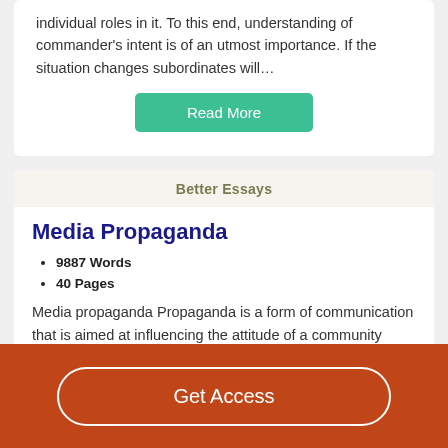individual roles in it. To this end, understanding of commander's intent is of an utmost importance. If the situation changes subordinates will…
Read More
Better Essays
Media Propaganda
9887 Words
40 Pages
Media propaganda Propaganda is a form of communication that is aimed at influencing the attitude of a community
Get Access